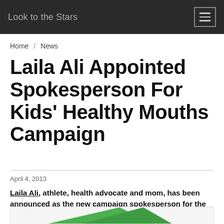Look to the Stars
Home / News
Laila Ali Appointed Spokesperson For Kids' Healthy Mouths Campaign
April 4, 2013
Laila Ali, athlete, health advocate and mom, has been announced as the new campaign spokesperson for the Kids' Healthy Mouths public service advertising (PSA) campaign.
[Figure (illustration): Bottom strip with green triangle shape, partial view of campaign image]